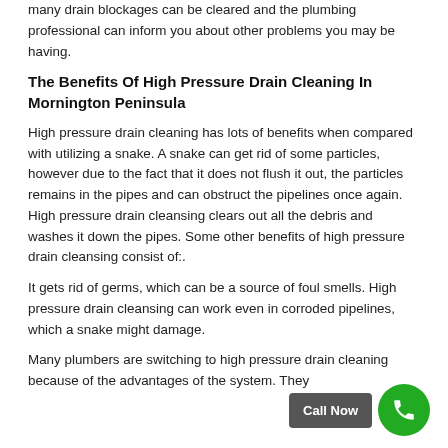many drain blockages can be cleared and the plumbing professional can inform you about other problems you may be having.
The Benefits Of High Pressure Drain Cleaning In Mornington Peninsula
High pressure drain cleaning has lots of benefits when compared with utilizing a snake. A snake can get rid of some particles, however due to the fact that it does not flush it out, the particles remains in the pipes and can obstruct the pipelines once again. High pressure drain cleansing clears out all the debris and washes it down the pipes. Some other benefits of high pressure drain cleansing consist of:.
It gets rid of germs, which can be a source of foul smells. High pressure drain cleansing can work even in corroded pipelines, which a snake might damage.
Many plumbers are switching to high pressure drain cleaning because of the advantages of the system. They